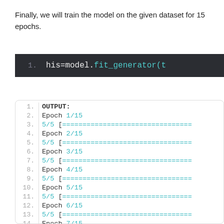Finally, we will train the model on the given dataset for 15 epochs.
[Figure (screenshot): Dark-themed code editor showing line 1: his=model.fit_generator(t]
[Figure (screenshot): Light-themed code output box showing lines 1-14: OUTPUT:, Epoch 1/15, 5/5 [====...], Epoch 2/15, 5/5 [====...], Epoch 3/15, 5/5 [====...], Epoch 4/15, 5/5 [====...], Epoch 5/15, 5/5 [====...], Epoch 6/15, 5/5 [====...], Epoch 7/15]